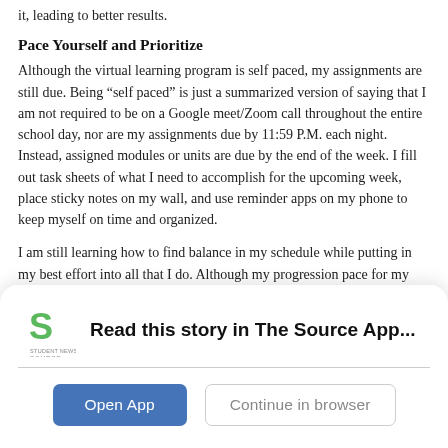it, leading to better results.
Pace Yourself and Prioritize
Although the virtual learning program is self paced, my assignments are still due. Being “self paced” is just a summarized version of saying that I am not required to be on a Google meet/Zoom call throughout the entire school day, nor are my assignments due by 11:59 P.M. each night. Instead, assigned modules or units are due by the end of the week. I fill out task sheets of what I need to accomplish for the upcoming week, place sticky notes on my wall, and use reminder apps on my phone to keep myself on time and organized.
I am still learning how to find balance in my schedule while putting in my best effort into all that I do. Although my progression pace for my
[Figure (screenshot): App banner overlay for Student News Source app with logo, 'Read this story in The Source App...' heading, 'Open App' and 'Continue in browser' buttons.]